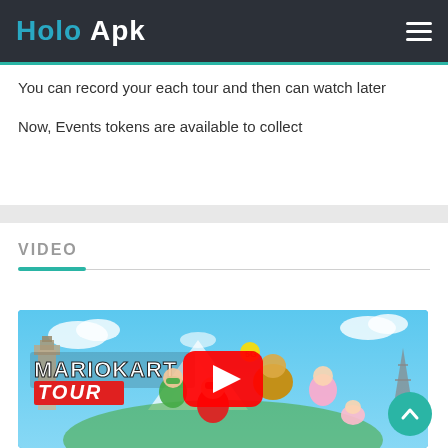Holo Apk
You can record your each tour and then can watch later
Now, Events tokens are available to collect
VIDEO
[Figure (screenshot): Mario Kart Tour promotional image with YouTube play button overlay showing Mario, Luigi, Bowser, Princess Peach, Toad and world landmarks on a blue sky background]